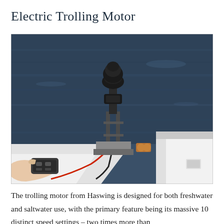Electric Trolling Motor
[Figure (photo): Photo of an electric trolling motor mounted on the bow of a white boat, with a person's hand holding a remote control in the foreground. The motor is mounted on a metal bracket at the front of the boat, with red and black wires visible. The dark water is visible in the background.]
The trolling motor from Haswing is designed for both freshwater and saltwater use, with the primary feature being its massive 10 distinct speed settings – two times more than